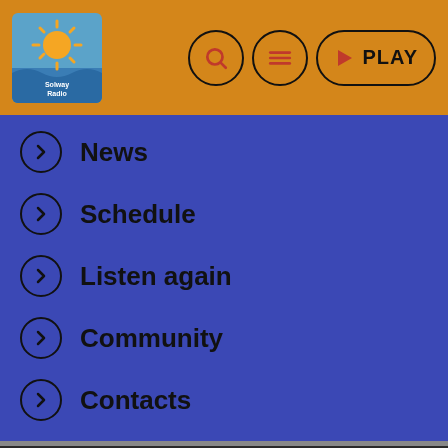[Figure (logo): Solway Radio logo - stylized sun and waves with text]
News
Schedule
Listen again
Community
Contacts
WEBSITE – SOLWAY RADIO 2021
CONTACTS
On My Radio Selecter